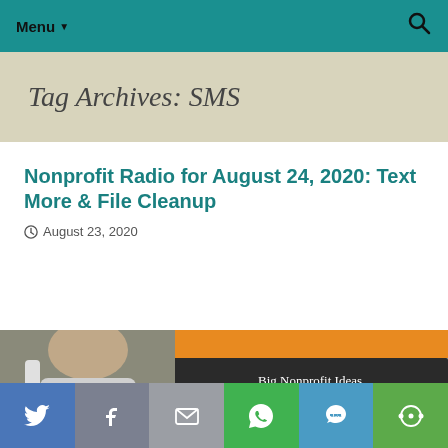Menu ▼
Tag Archives: SMS
Nonprofit Radio for August 24, 2020: Text More & File Cleanup
August 23, 2020
[Figure (photo): A man seated, with a banner reading 'Big Nonprofit Ideas for the Other 95%' visible behind him on an orange and dark background.]